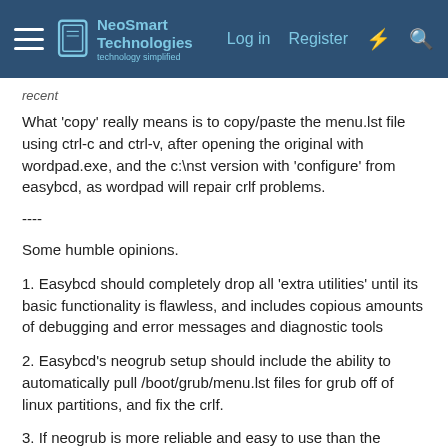NeoSmart Technologies — Log in | Register
recent
What 'copy' really means is to copy/paste the menu.lst file using ctrl-c and ctrl-v, after opening the original with wordpad.exe, and the c:\nst version with 'configure' from easybcd, as wordpad will repair crlf problems.
----
Some humble opinions.
1. Easybcd should completely drop all 'extra utilities' until its basic functionality is flawless, and includes copious amounts of debugging and error messages and diagnostic tools
2. Easybcd's neogrub setup should include the ability to automatically pull /boot/grub/menu.lst files for grub off of linux partitions, and fix the crlf.
3. If neogrub is more reliable and easy to use than the standard linux